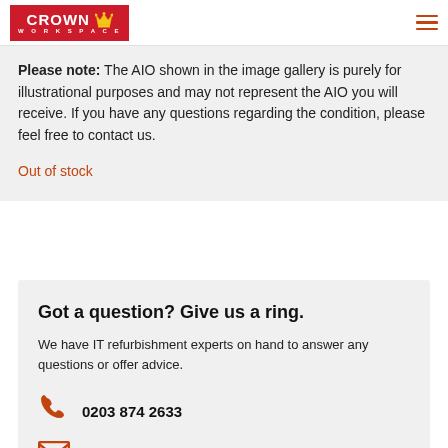Crown Workspace
Please note: The AIO shown in the image gallery is purely for illustrational purposes and may not represent the AIO you will receive. If you have any questions regarding the condition, please feel free to contact us.
Out of stock
Got a question? Give us a ring.
We have IT refurbishment experts on hand to answer any questions or offer advice.
0203 874 2633
itresale.uk@crownww.com